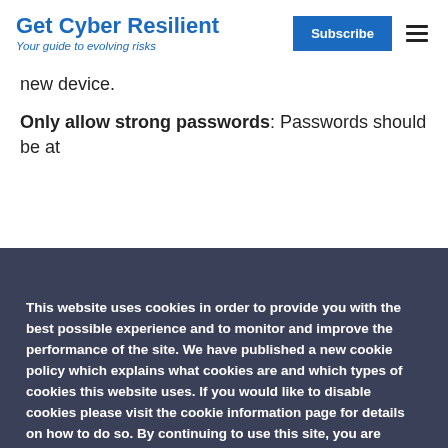Get Cyber Resilient – Your guide to evolving risks
new device.
Only allow strong passwords: Passwords should be at
This website uses cookies in order to provide you with the best possible experience and to monitor and improve the performance of the site. We have published a new cookie policy which explains what cookies are and which types of cookies this website uses. If you would like to disable cookies please visit the cookie information page for details on how to do so. By continuing to use this site, you are agreeing to the use of cookies, unless you have disabled them. Privacy Statement
Accept